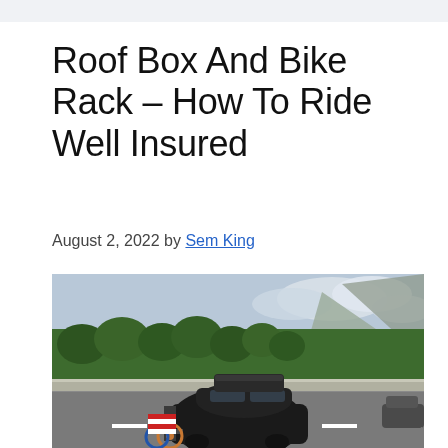Roof Box And Bike Rack – How To Ride Well Insured
August 2, 2022 by Sem King
[Figure (photo): A dark-colored car traveling on a highway with a roof box on top and bikes mounted on a rear bike rack with a red and white warning board, surrounded by green trees and mountains in the background.]